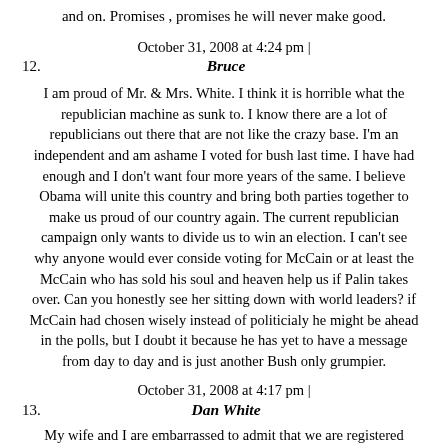and on. Promises , promises he will never make good.
October 31, 2008 at 4:24 pm |
12. Bruce
I am proud of Mr. & Mrs. White. I think it is horrible what the republician machine as sunk to. I know there are a lot of republicians out there that are not like the crazy base. I'm an independent and am ashame I voted for bush last time. I have had enough and I don't want four more years of the same. I believe Obama will unite this country and bring both parties together to make us proud of our country again. The current republician campaign only wants to divide us to win an election. I can't see why anyone would ever conside voting for McCain or at least the McCain who has sold his soul and heaven help us if Palin takes over. Can you honestly see her sitting down with world leaders? if McCain had chosen wisely instead of politicialy he might be ahead in the polls, but I doubt it because he has yet to have a message from day to day and is just another Bush only grumpier.
October 31, 2008 at 4:17 pm |
13. Dan White
My wife and I are embarrassed to admit that we are registered Republicans. We are sick and tired of the